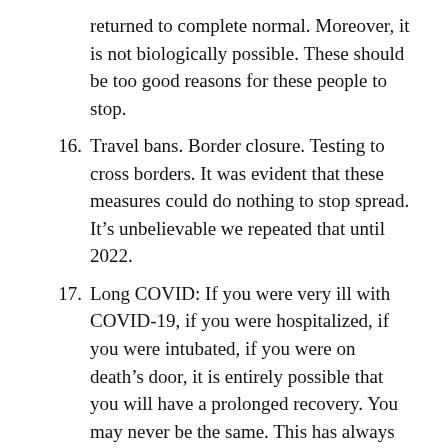(continuation) returned to complete normal. Moreover, it is not biologically possible. These should be too good reasons for these people to stop.
16. Travel bans. Border closure. Testing to cross borders. It was evident that these measures could do nothing to stop spread. It’s unbelievable we repeated that until 2022.
17. Long COVID: If you were very ill with COVID-19, if you were hospitalized, if you were intubated, if you were on death’s door, it is entirely possible that you will have a prolonged recovery. You may never be the same. This has always been the case with respiratory viruses. Or any illness for that matter. But if you had a mild infection, if you didn’t even know you were sick, then it